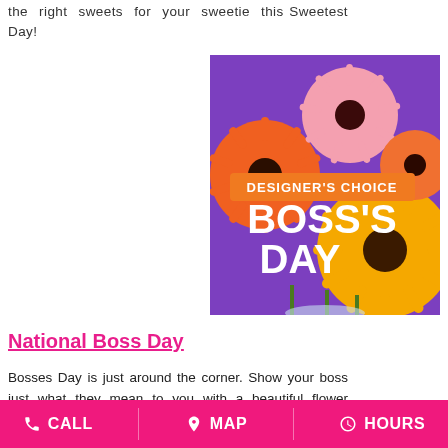the right sweets for your sweetie this Sweetest Day!
[Figure (photo): Designer's Choice Boss's Day flower arrangement with orange, pink, and yellow gerbera daisies on a purple background]
National Boss Day
Bosses Day is just around the corner. Show your boss just what they mean to you with a beautiful flower arrangement from Linda's
CALL   MAP   HOURS